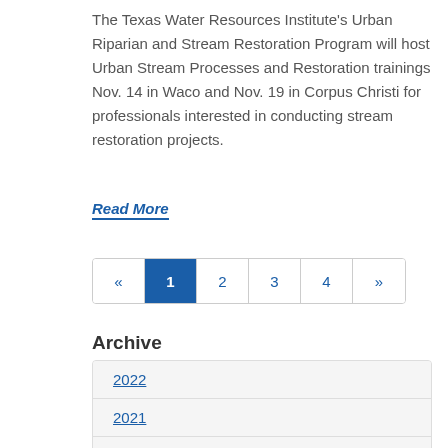The Texas Water Resources Institute's Urban Riparian and Stream Restoration Program will host Urban Stream Processes and Restoration trainings Nov. 14 in Waco and Nov. 19 in Corpus Christi for professionals interested in conducting stream restoration projects.
Read More
« 1 2 3 4 »
Archive
2022
2021
2020
2019